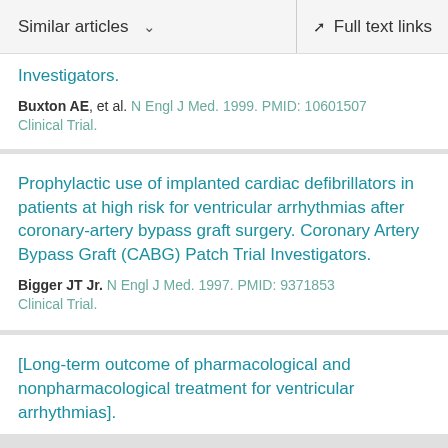Similar articles  ∨    Full text links
Investigators.
Buxton AE, et al. N Engl J Med. 1999. PMID: 10601507
Clinical Trial.
Prophylactic use of implanted cardiac defibrillators in patients at high risk for ventricular arrhythmias after coronary-artery bypass graft surgery. Coronary Artery Bypass Graft (CABG) Patch Trial Investigators.
Bigger JT Jr. N Engl J Med. 1997. PMID: 9371853
Clinical Trial.
[Long-term outcome of pharmacological and nonpharmacological treatment for ventricular arrhythmias].